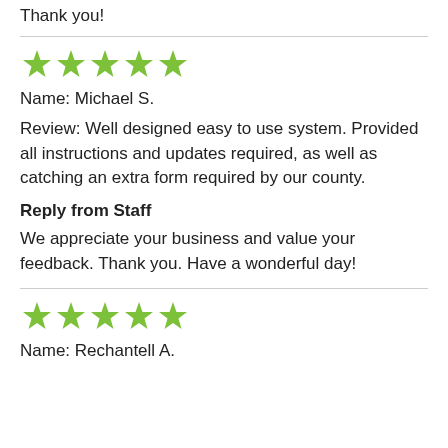Thank you!
[Figure (other): Five green star rating icons]
Name: Michael S.
Review: Well designed easy to use system. Provided all instructions and updates required, as well as catching an extra form required by our county.
Reply from Staff
We appreciate your business and value your feedback. Thank you. Have a wonderful day!
[Figure (other): Five green star rating icons]
Name: Rechantell A.